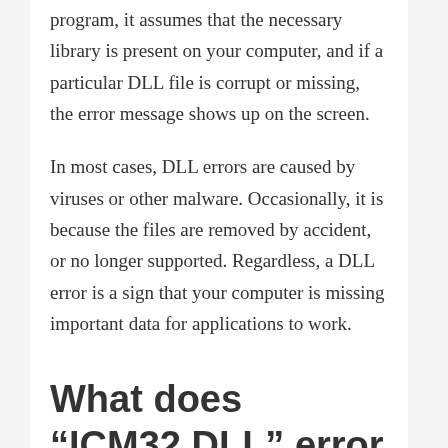program, it assumes that the necessary library is present on your computer, and if a particular DLL file is corrupt or missing, the error message shows up on the screen.
In most cases, DLL errors are caused by viruses or other malware. Occasionally, it is because the files are removed by accident, or no longer supported. Regardless, a DLL error is a sign that your computer is missing important data for applications to work.
What does “ICM32.DLL” error mean?